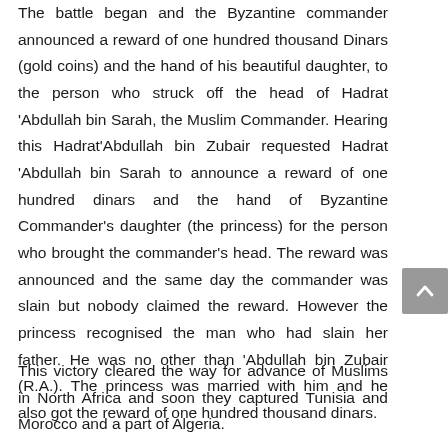The battle began and the Byzantine commander announced a reward of one hundred thousand Dinars (gold coins) and the hand of his beautiful daughter, to the person who struck off the head of Hadrat 'Abdullah bin Sarah, the Muslim Commander. Hearing this Hadrat'Abdullah bin Zubair requested Hadrat 'Abdullah bin Sarah to announce a reward of one hundred dinars and the hand of Byzantine Commander's daughter (the princess) for the person who brought the commander's head. The reward was announced and the same day the commander was slain but nobody claimed the reward. However the princess recognised the man who had slain her father. He was no other than 'Abdullah bin Zubair (R.A.). The princess was married with him and he also got the reward of one hundred thousand dinars.
This victory cleared the way for advance of Muslims in North Africa and soon they captured Tunisia and Morocco and a part of Algeria.